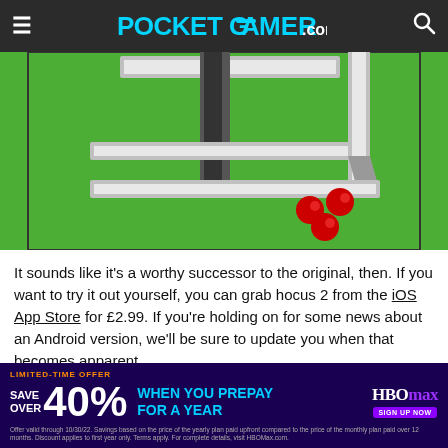POCKET GAMER.com
[Figure (screenshot): Screenshot from the game hocus 2 showing a 3D isometric puzzle with gray square frame on green background and red balls at the bottom right corner]
It sounds like it's a worthy successor to the original, then. If you want to try it out yourself, you can grab hocus 2 from the iOS App Store for £2.99. If you're holding on for some news about an Android version, we'll be sure to update you when that becomes apparent.
Like puzzle games but hate deciding what your next one should be? Check out our list here of the best ones available on iPho... and iPa...
[Figure (screenshot): HBO Max advertisement banner: LIMITED-TIME OFFER SAVE OVER 40% WHEN YOU PREPAY FOR A YEAR with HBO Max logo and SIGN UP NOW button]